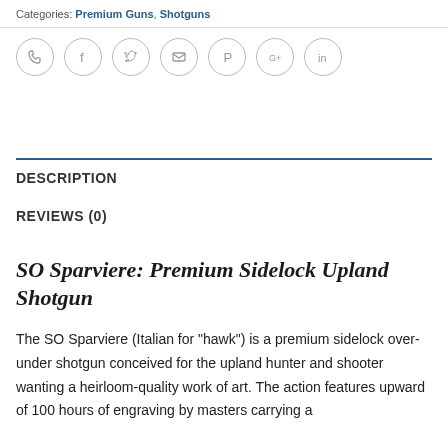Categories: Premium Guns, Shotguns
[Figure (infographic): Row of social sharing icon circles: phone, Facebook, Twitter, email, Pinterest, Google+, LinkedIn]
DESCRIPTION
REVIEWS (0)
SO Sparviere: Premium Sidelock Upland Shotgun
The SO Sparviere (Italian for “hawk”) is a premium sidelock over-under shotgun conceived for the upland hunter and shooter wanting a heirloom-quality work of art. The action features upward of 100 hours of engraving by masters carrying a